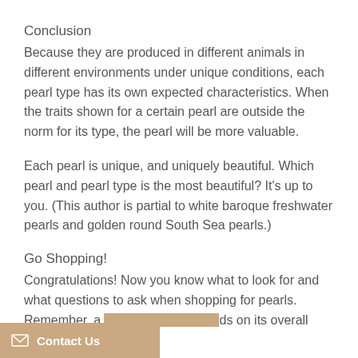Conclusion
Because they are produced in different animals in different environments under unique conditions, each pearl type has its own expected characteristics. When the traits shown for a certain pearl are outside the norm for its type, the pearl will be more valuable.
Each pearl is unique, and uniquely beautiful. Which pearl and pearl type is the most beautiful? It’s up to you. (This author is partial to white baroque freshwater pearls and golden round South Sea pearls.)
Go Shopping!
Congratulations! Now you know what to look for and what questions to ask when shopping for pearls. Remember, a [pearl’s value depen]ds on its overall look--how well it